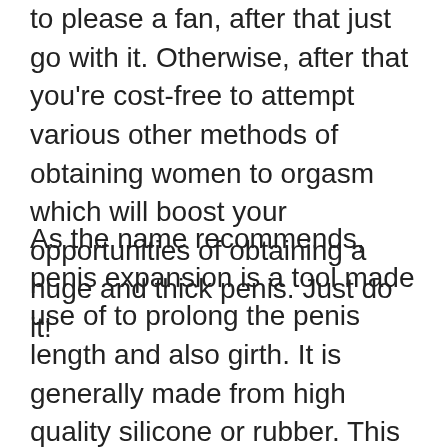to please a fan, after that just go with it. Otherwise, after that you're cost-free to attempt various other methods of obtaining women to orgasm which will boost your opportunities of obtaining a huge and thick penis. Just do it!
As the name recommends, penis expansion is a tool made use of to prolong the penis length and also girth. It is generally made from high quality silicone or rubber. This kind of extender has actually gained a good credibility in the male improvement market due to its premium convenience and also boosted sensations. Lots of males have been astonished by its effectiveness in boosting their sex lives.